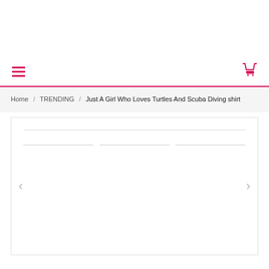Navigation bar with hamburger menu and cart icon
Home / TRENDING / Just A Girl Who Loves Turtles And Scuba Diving shirt
[Figure (screenshot): Product image area with top border line and tab selectors, with left and right navigation arrows]